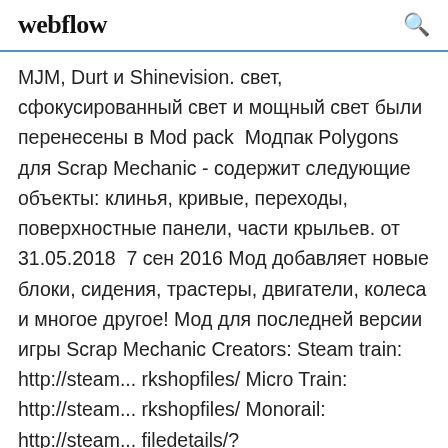webflow
МJM, Durt и Shinevision. свет, сфокусированный свет и мощный свет были перенесены в Modpack  Модпак Polygons для Scrap Mechanic - содержит следующие объекты: клинья, кривые, переходы, поверхностные панели, части крыльев. от 31.05.2018  7 сен 2016 Мод добавляет новые блоки, сидения, трастеры, двигатели, колеса и многое другое! Мод для последней версии игры Scrap Mechanic Creators: Steam train: http://steam... rkshopfiles/ Micro Train: http://steam... rkshopfiles/ Monorail: http://steam... filedetails/?id=1295469449...Mechanic spy - Video - Vilookhttps://vilook.com/search/mechanic-